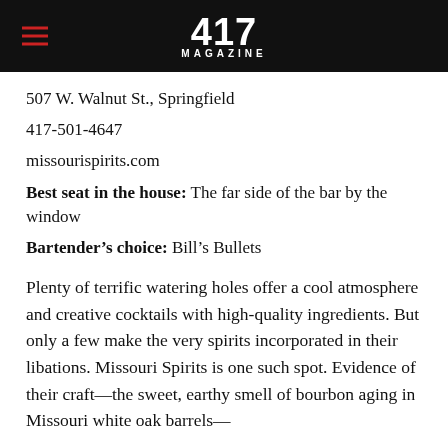417 MAGAZINE
507 W. Walnut St., Springfield
417-501-4647
missourispirits.com
Best seat in the house: The far side of the bar by the window
Bartender’s choice: Bill’s Bullets
Plenty of terrific watering holes offer a cool atmosphere and creative cocktails with high-quality ingredients. But only a few make the very spirits incorporated in their libations. Missouri Spirits is one such spot. Evidence of their craft—the sweet, earthy smell of bourbon aging in Missouri white oak barrels—